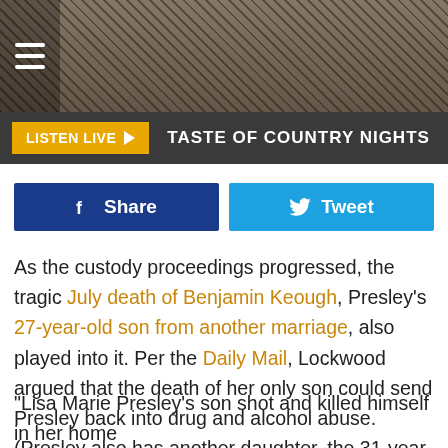[Figure (screenshot): 95.3 Big Cat radio station website header banner with logo, hamburger menu icon, and play button]
LISTEN LIVE ▶  TASTE OF COUNTRY NIGHTS
[Figure (screenshot): Facebook Share button and Twitter Tweet button]
As the custody proceedings progressed, the tragic July death of Benjamin Keough, Presley's 27-year-old son from another marriage, also played into it. Per the Daily Mail, Lockwood argued that the death of her only son could send Presley back into drug and alcohol abuse. (Presley also has another daughter, the 31-year old actress and model Riley Keough, with ex-husband Danny Keough.)
"Lisa Marie Presley's son shot and killed himself in her home